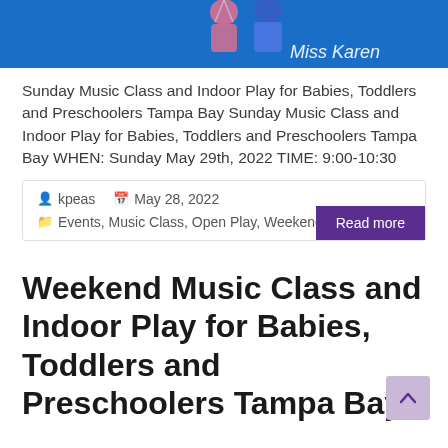[Figure (photo): Hero image with blue background showing children and adult (Miss Karen) in a music class setting]
Sunday Music Class and Indoor Play for Babies, Toddlers and Preschoolers Tampa Bay Sunday Music Class and Indoor Play for Babies, Toddlers and Preschoolers Tampa Bay WHEN: Sunday May 29th, 2022 TIME: 9:00-10:30
kpeas   May 28, 2022
Events, Music Class, Open Play, Weekends Hours
Read more
Weekend Music Class and Indoor Play for Babies, Toddlers and Preschoolers Tampa Bay